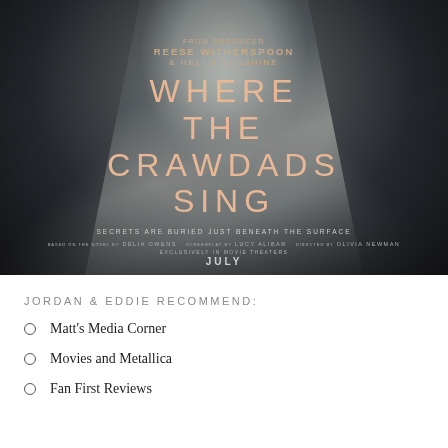[Figure (photo): Movie poster for 'Where the Crawdads Sing' featuring a close-up of a woman's neck and hair in dark tones with salmon/peach colored title text. Credits include Reese Witherspoon and Hello Sunshine as producers, Delia Owens novel, Lucy Alibar screenplay, Olivia Newman director. Tagline: Secrets are buried just beneath the surface. Releasing exclusively in movie theaters July.]
JORDAN & EDDIE RECOMMEND:
Matt's Media Corner
Movies and Metallica
Fan First Reviews